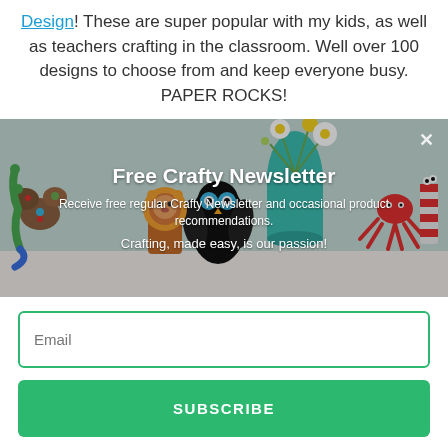Design! These are super popular with my kids, as well as teachers crafting in the classroom. Well over 100 designs to choose from and keep everyone busy. PAPER ROCKS!
[Figure (photo): Colorful craft animals and figures made from paper rolls and painted rocks, displayed together as a group shot. Includes owl, lion, octopus, caterpillar, and other creatures, with flowers in a jar in the background. Overlaid text reads 'Free Crafty Newsletter', 'Receive free regular Crafty Newsletter and occasional product recommendations.', 'Crafting, made easy, is our passion!']
Email
SUBSCRIBE